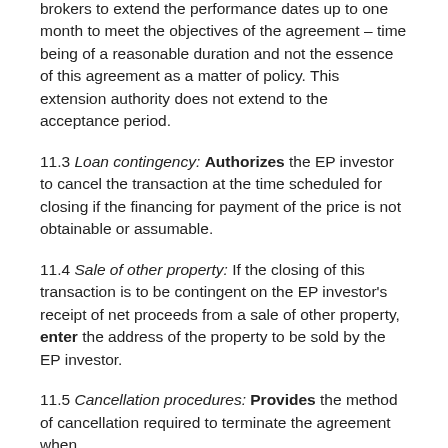brokers to extend the performance dates up to one month to meet the objectives of the agreement – time being of a reasonable duration and not the essence of this agreement as a matter of policy. This extension authority does not extend to the acceptance period.
11.3 Loan contingency: Authorizes the EP investor to cancel the transaction at the time scheduled for closing if the financing for payment of the price is not obtainable or assumable.
11.4 Sale of other property: If the closing of this transaction is to be contingent on the EP investor's receipt of net proceeds from a sale of other property, enter the address of the property to be sold by the EP investor.
11.5 Cancellation procedures: Provides the method of cancellation required to terminate the agreement when